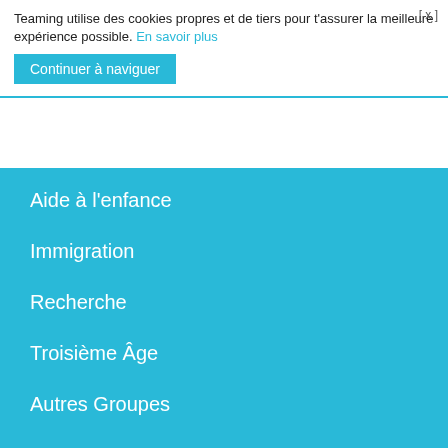Teaming utilise des cookies propres et de tiers pour t'assurer la meilleure expérience possible. En savoir plus
Continuer à naviguer
Aide à l'enfance
Immigration
Recherche
Troisième Âge
Autres Groupes
[Figure (infographic): Row of 5 social media icons (Facebook, Twitter, Instagram, YouTube, LinkedIn) as white circles on teal background]
Rejoindre ce Groupe (1 €/mois)